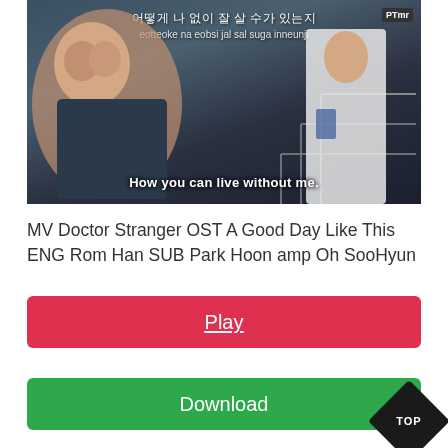[Figure (screenshot): Video screenshot from Korean drama Doctor Stranger showing two characters, with Korean and romanized subtitles at top and English subtitle 'How you can live without me.' at bottom. PTmr watermark in top right.]
MV Doctor Stranger OST A Good Day Like This ENG Rom Han SUB Park Hoon amp Oh SooHyun
Play
Download
[Figure (other): Black diamond shape badge with 'TOP' text in white]